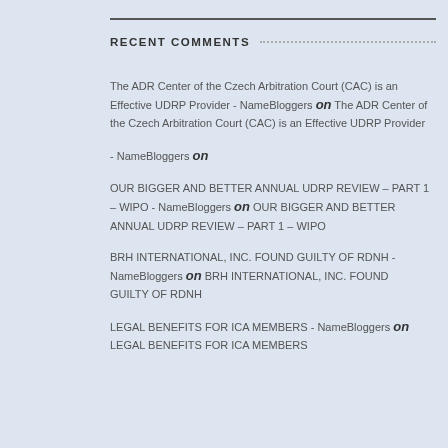RECENT COMMENTS
The ADR Center of the Czech Arbitration Court (CAC) is an Effective UDRP Provider - NameBloggers on The ADR Center of the Czech Arbitration Court (CAC) is an Effective UDRP Provider
- NameBloggers on
OUR BIGGER AND BETTER ANNUAL UDRP REVIEW – PART 1 – WIPO - NameBloggers on OUR BIGGER AND BETTER ANNUAL UDRP REVIEW – PART 1 – WIPO
BRH INTERNATIONAL, INC. FOUND GUILTY OF RDNH - NameBloggers on BRH INTERNATIONAL, INC. FOUND GUILTY OF RDNH
LEGAL BENEFITS FOR ICA MEMBERS - NameBloggers on LEGAL BENEFITS FOR ICA MEMBERS